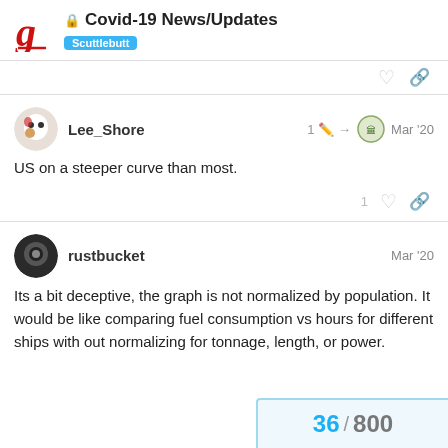Covid-19 News/Updates — Scuttlebutt
US on a steeper curve than most.
Its a bit deceptive, the graph is not normalized by population. It would be like comparing fuel consumption vs hours for different ships with out normalizing for tonnage, length, or power.
36 / 800